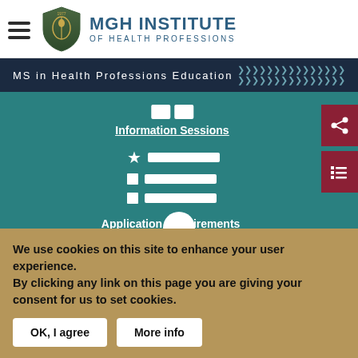[Figure (logo): MGH Institute of Health Professions logo with shield emblem and hamburger menu icon]
MS in Health Professions Education
[Figure (screenshot): Teal section showing Information Sessions link with calendar icon, list items with star and bullet icons, Application Requirements link, and a person profile icon]
We use cookies on this site to enhance your user experience. By clicking any link on this page you are giving your consent for us to set cookies.
OK, I agree
More info